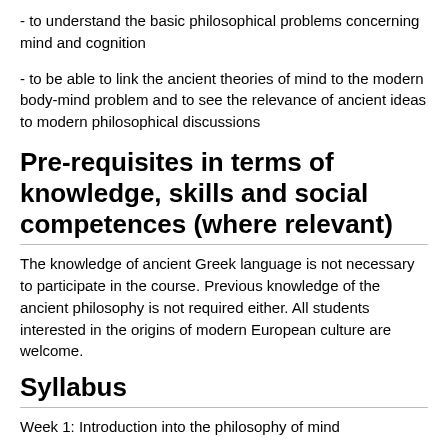- to understand the basic philosophical problems concerning mind and cognition
- to be able to link the ancient theories of mind to the modern body-mind problem and to see the relevance of ancient ideas to modern philosophical discussions
Pre-requisites in terms of knowledge, skills and social competences (where relevant)
The knowledge of ancient Greek language is not necessary to participate in the course. Previous knowledge of the ancient philosophy is not required either. All students interested in the origins of modern European culture are welcome.
Syllabus
Week 1: Introduction into the philosophy of mind
Week 2: Psychology in the Greek archaic epics (1)